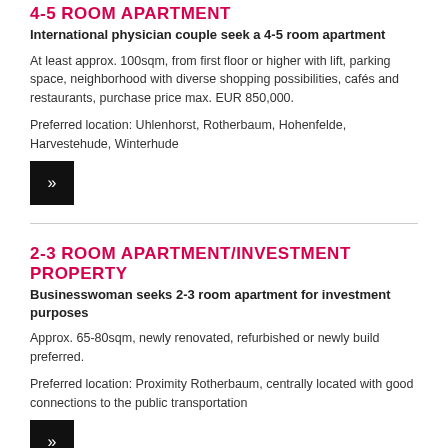4-5 ROOM APARTMENT
International physician couple seek a 4-5 room apartment
At least approx. 100sqm, from first floor or higher with lift, parking space, neighborhood with diverse shopping possibilities, cafés and restaurants, purchase price max. EUR 850,000.
Preferred location: Uhlenhorst, Rotherbaum, Hohenfelde, Harvestehude, Winterhude
[Figure (other): Black button with double right-arrow (»)]
2-3 ROOM APARTMENT/INVESTMENT PROPERTY
Businesswoman seeks 2-3 room apartment for investment purposes
Approx. 65-80sqm, newly renovated, refurbished or newly build preferred.
Preferred location: Proximity Rotherbaum, centrally located with good connections to the public transportation
[Figure (other): Black button with double right-arrow (»)]